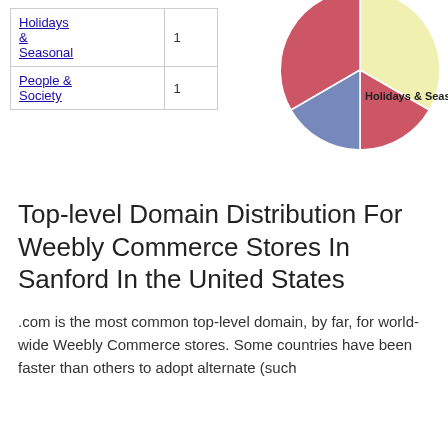| Category | Count |
| --- | --- |
| Holidays & Seasonal | 1 |
| People & Society | 1 |
[Figure (pie-chart): Category distribution]
Top-level Domain Distribution For Weebly Commerce Stores In Sanford In the United States
.com is the most common top-level domain, by far, for world-wide Weebly Commerce stores. Some countries have been faster than others to adopt alternate (such